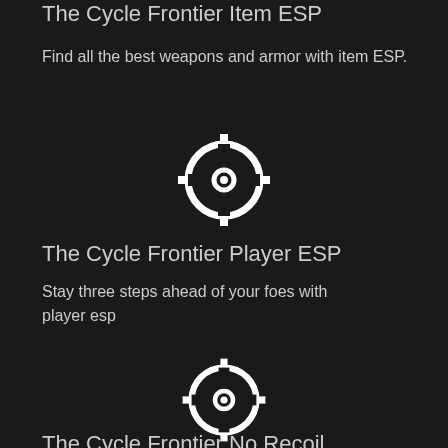The Cycle Frontier Item ESP
Find all the best weapons and armor with item ESP.
[Figure (illustration): White crosshair/target reticle icon on dark background]
The Cycle Frontier Player ESP
Stay three steps ahead of your foes with player esp
[Figure (illustration): White crosshair/target reticle icon on dark background]
The Cycle Frontier No Recoil